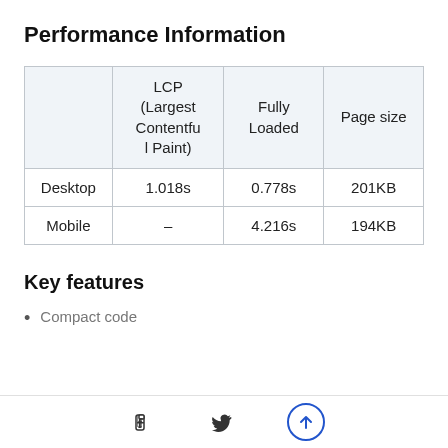Performance Information
|  | LCP (Largest Contentful Paint) | Fully Loaded | Page size |
| --- | --- | --- | --- |
| Desktop | 1.018s | 0.778s | 201KB |
| Mobile | – | 4.216s | 194KB |
Key features
Compact code